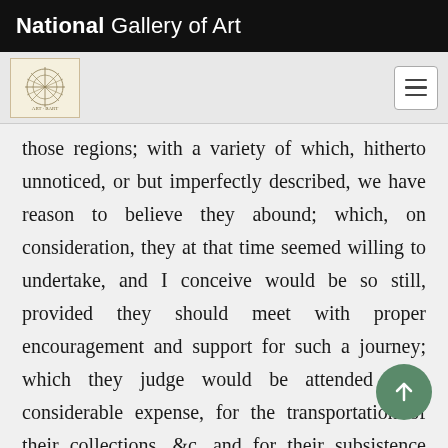National Gallery of Art
those regions; with a variety of which, hitherto unnoticed, or but imperfectly described, we have reason to believe they abound; which, on consideration, they at that time seemed willing to undertake, and I conceive would be so still, provided they should meet with proper encouragement and support for such a journey; which they judge would be attended with considerable expense, for the transportation of their collections, &c, and for their subsistence during a period of fifteen or eighteen months, or more which would at least be necessary for the completion of the numerous observations, and